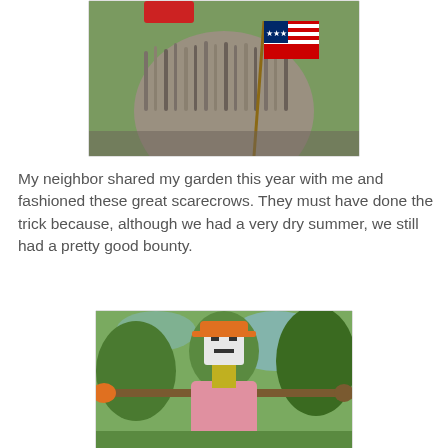[Figure (photo): Close-up photo of a scarecrow with shaggy gray/brown fabric body holding a small American flag, with a red hat visible at top, set against a green grass background.]
My neighbor shared my garden this year with me and fashioned these great scarecrows. They must have done the trick because, although we had a very dry summer, we still had a pretty good bounty.
[Figure (photo): Photo of a scarecrow wearing a pink hoodie and orange cap, with arms spread wide holding sticks/branches, surrounded by green trees in the background.]